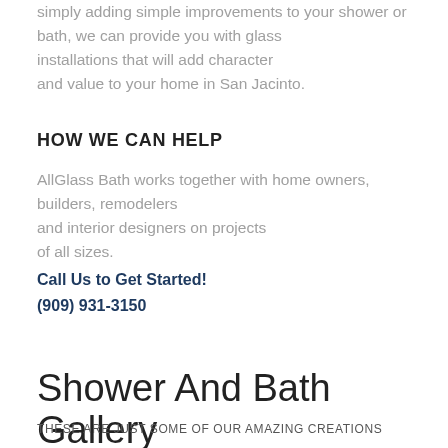simply adding simple improvements to your shower or bath, we can provide you with glass installations that will add character and value to your home in San Jacinto.
HOW WE CAN HELP
AllGlass Bath works together with home owners, builders, remodelers and interior designers on projects of all sizes.
Call Us to Get Started!
(909) 931-3150
Shower And Bath Gallery
THESE ARE JUST SOME OF OUR AMAZING CREATIONS